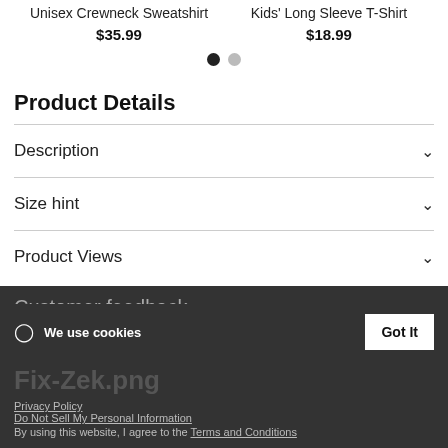Unisex Crewneck Sweatshirt
$35.99
Kids' Long Sleeve T-Shirt
$18.99
Product Details
Description
Size hint
Product Views
We use cookies
Customer feedback
Click here to see a list of the categories of personal information we collect and what we use them for ("Notice at Collection").
Fix-Zek.png
Privacy Policy
Do Not Sell My Personal Information
By using this website, I agree to the Terms and Conditions